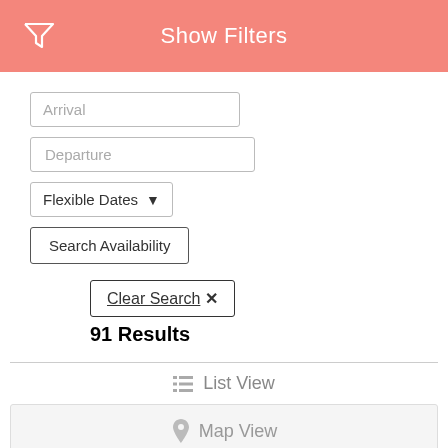Show Filters
Arrival
Departure
Flexible Dates
Search Availability
Clear Search ✕
91 Results
☰ List View
📍 Map View
Internet
Community Pool